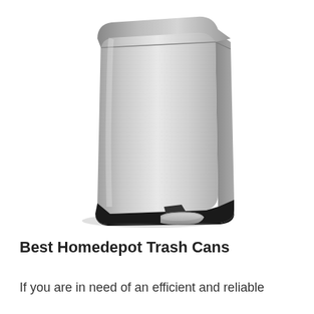[Figure (photo): A stainless steel step trash can with a brushed metallic finish, rounded rectangular shape, black base, and a foot pedal at the bottom front. The can is shown at a slight angle against a white background.]
Best Homedepot Trash Cans
If you are in need of an efficient and reliable